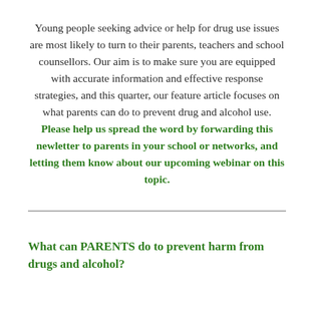Young people seeking advice or help for drug use issues are most likely to turn to their parents, teachers and school counsellors. Our aim is to make sure you are equipped with accurate information and effective response strategies, and this quarter, our feature article focuses on what parents can do to prevent drug and alcohol use. Please help us spread the word by forwarding this newletter to parents in your school or networks, and letting them know about our upcoming webinar on this topic.
What can PARENTS do to prevent harm from drugs and alcohol?